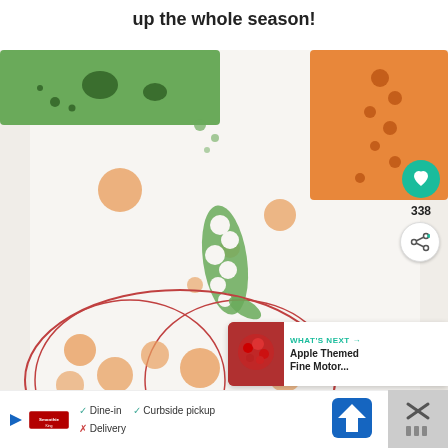up the whole season!
[Figure (photo): Close-up photo of a craft activity showing a pumpkin coloring/dot activity page with orange and green polka dot patterns, green craft foam shapes at top, and decorative elements. A heart (like) button showing 338 likes and a share button are overlaid on the right side. A 'What's Next' box shows 'Apple Themed Fine Motor...' with a thumbnail.]
WHAT'S NEXT → Apple Themed Fine Motor...
✓ Dine-in  ✓ Curbside pickup  ✗ Delivery